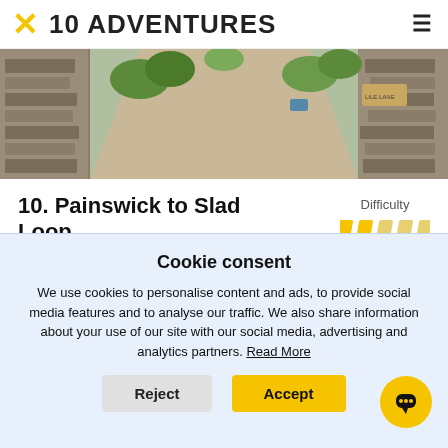✕ 10 ADVENTURES
[Figure (photo): Stone-walled narrow lane with vegetation, Cotswolds village scene]
10. Painswick to Slad Loop
Difficulty
7.3mi   1,358ft   3-4.5h
Explore the beautiful South Cotswolds on the Painswick to
Cookie consent
We use cookies to personalise content and ads, to provide social media features and to analyse our traffic. We also share information about your use of our site with our social media, advertising and analytics partners. Read More
Reject
Accept